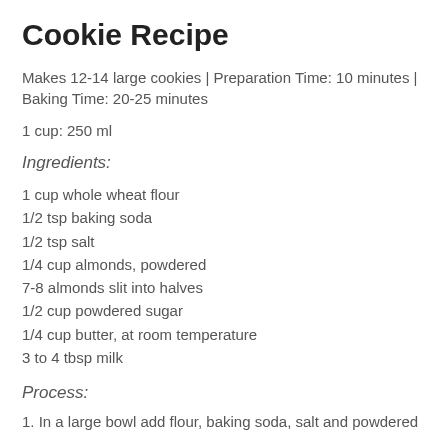Cookie Recipe
Makes 12-14 large cookies | Preparation Time: 10 minutes | Baking Time: 20-25 minutes
1 cup: 250 ml
Ingredients:
1 cup whole wheat flour
1/2 tsp baking soda
1/2 tsp salt
1/4 cup almonds, powdered
7-8 almonds slit into halves
1/2 cup powdered sugar
1/4 cup butter, at room temperature
3 to 4 tbsp milk
Process:
1. In a large bowl add flour, baking soda, salt and powdered